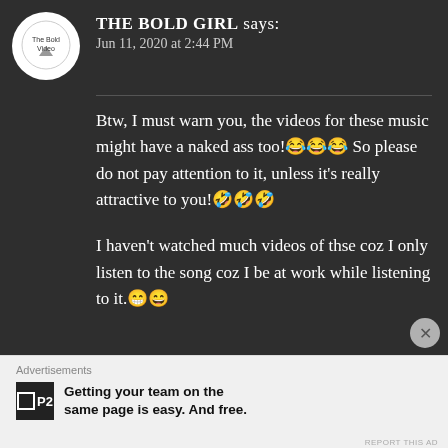THE BOLD GIRL says: Jun 11, 2020 at 2:44 PM
Btw, I must warn you, the videos for these music might have a naked ass too!😂😂😂 So please do not pay attention to it, unless it's really attractive to you!🤣🤣🤣
I haven't watched much videos of thse coz I only listen to the song coz I be at work while listening to it.😁😄
Advertisements
Getting your team on the same page is easy. And free.